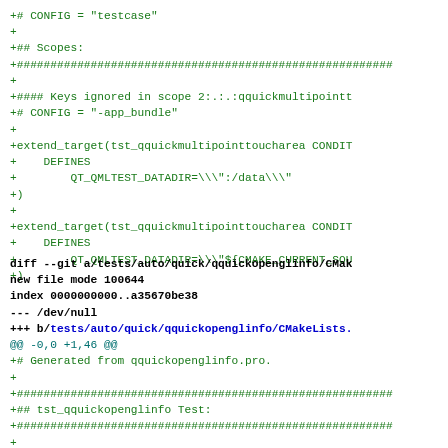+# CONFIG = "testcase"
+
+## Scopes:
+####################################################################
+
+#### Keys ignored in scope 2:.:.qquickmultipointt
+# CONFIG = "-app_bundle"
+
+extend_target(tst_qquickmultipointtoucharea CONDIT
+     DEFINES
+          QT_QMLTEST_DATADIR=\\":/data\\"
++)
+
+extend_target(tst_qquickmultipointtoucharea CONDIT
+     DEFINES
+          QT_QMLTEST_DATADIR=\\"${CMAKE_CURRENT_SOU
+)
diff --git a/tests/auto/quick/qquickopenglinfo/CMak
new file mode 100644
index 0000000000..a35670be38
--- /dev/null
+++ b/tests/auto/quick/qquickopenglinfo/CMakeLists.
@@ -0,0 +1,46 @@
+# Generated from qquickopenglinfo.pro.
+
+####################################################################
+## tst_qquickopenglinfo Test:
+####################################################################
+